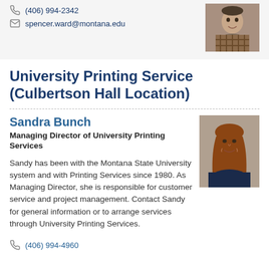(406) 994-2342
spencer.ward@montana.edu
[Figure (photo): Headshot of a man in a plaid shirt]
University Printing Service (Culbertson Hall Location)
Sandra Bunch
Managing Director of University Printing Services
Sandy has been with the Montana State University system and with Printing Services since 1980. As Managing Director, she is responsible for customer service and project management. Contact Sandy for general information or to arrange services through University Printing Services.
(406) 994-4960